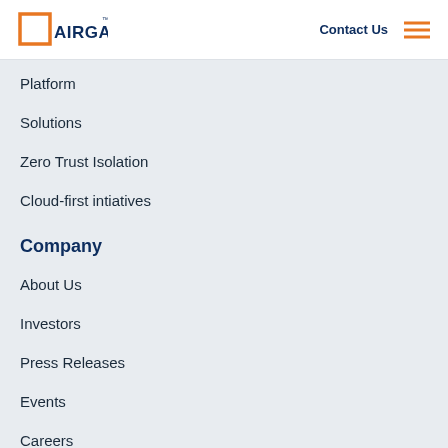AIRGAP | Contact Us
Platform
Solutions
Zero Trust Isolation
Cloud-first intiatives
Company
About Us
Investors
Press Releases
Events
Careers